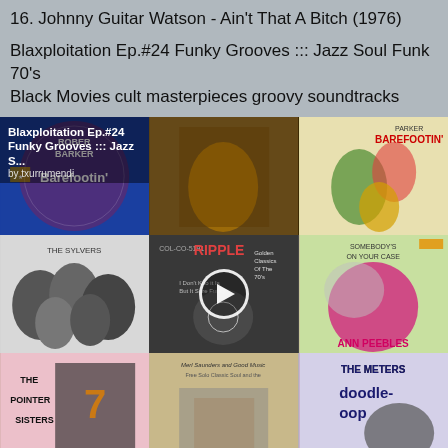16. Johnny Guitar Watson - Ain't That A Bitch (1976)
Blaxploitation Ep.#24 Funky Grooves ::: Jazz Soul Funk 70's Black Movies cult masterpieces groovy soundtracks
[Figure (photo): 3x3 grid of album covers for Blaxploitation Ep.#24 Funky Grooves playlist. Top row: Robert Parker Barefootin' (blue), a dark figure in yellow (funk album), Parker Barefootin' illustrated cover. Middle row: The Sylvers (black and white group photo), Ripple Golden Classics 70s with play button overlay, Somebody's On Your Case / Ann Peebles (pink/green). Bottom row: The Pointer Sisters, Merl Saunders, The Meters doodle-oop. Overlay text reads 'Blaxploitation Ep.#24 Funky Grooves ::: Jazz S...' by txurrumendi.]